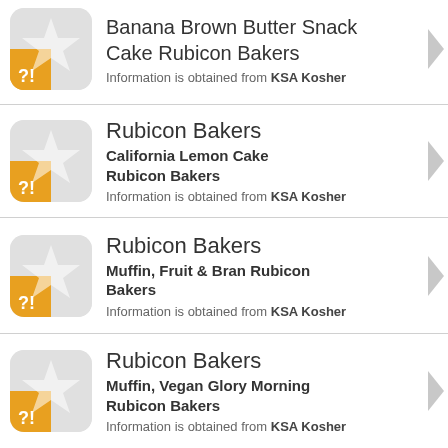Banana Brown Butter Snack Cake Rubicon Bakers
Information is obtained from KSA Kosher
Rubicon Bakers
California Lemon Cake Rubicon Bakers
Information is obtained from KSA Kosher
Rubicon Bakers
Muffin, Fruit & Bran Rubicon Bakers
Information is obtained from KSA Kosher
Rubicon Bakers
Muffin, Vegan Glory Morning Rubicon Bakers
Information is obtained from KSA Kosher